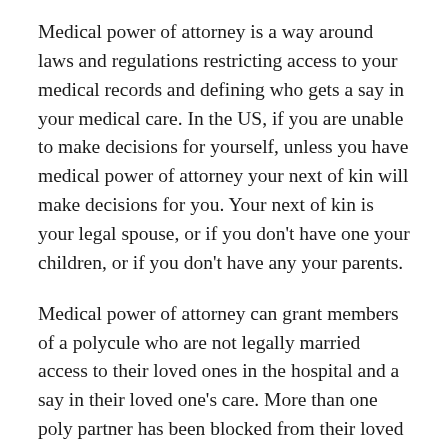Medical power of attorney is a way around laws and regulations restricting access to your medical records and defining who gets a say in your medical care. In the US, if you are unable to make decisions for yourself, unless you have medical power of attorney your next of kin will make decisions for you. Your next of kin is your legal spouse, or if you don’t have one your children, or if you don’t have any your parents.
Medical power of attorney can grant members of a polycule who are not legally married access to their loved ones in the hospital and a say in their loved one’s care. More than one poly partner has been blocked from their loved one’s bedside by parents (next-of-kin) who